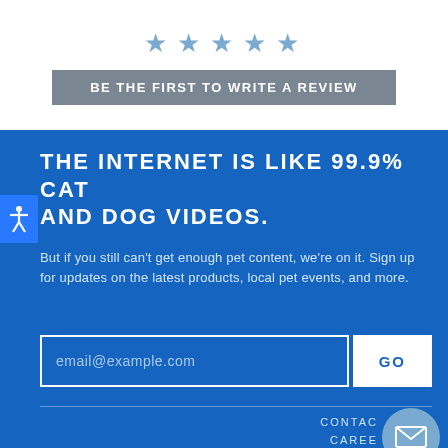[Figure (infographic): Five blue star icons for rating display]
BE THE FIRST TO WRITE A REVIEW
THE INTERNET IS LIKE 99.9% CAT AND DOG VIDEOS.
But if you still can't get enough pet content, we're on it. Sign up for updates on the latest products, local pet events, and more.
email@example.com
GO
CONTACT
CAREERS